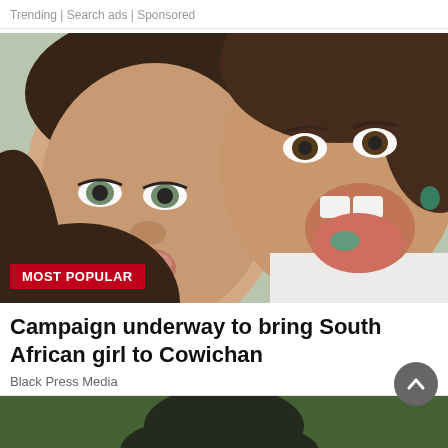Trending | Search ads | Sponsored
[Figure (photo): Two young girls making funny faces for a selfie-style photo. One girl puckers her lips and the other sticks out her tongue showing it is colored green/teal. Both have curly dark hair. There is a red badge overlay reading MOST POPULAR.]
Campaign underway to bring South African girl to Cowichan
Black Press Media
[Figure (photo): Partial photo of a person with dark curly hair, blurred background, only top of head visible at bottom of page.]